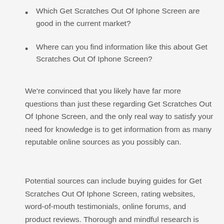Which Get Scratches Out Of Iphone Screen are good in the current market?
Where can you find information like this about Get Scratches Out Of Iphone Screen?
We're convinced that you likely have far more questions than just these regarding Get Scratches Out Of Iphone Screen, and the only real way to satisfy your need for knowledge is to get information from as many reputable online sources as you possibly can.
Potential sources can include buying guides for Get Scratches Out Of Iphone Screen, rating websites, word-of-mouth testimonials, online forums, and product reviews. Thorough and mindful research is crucial to